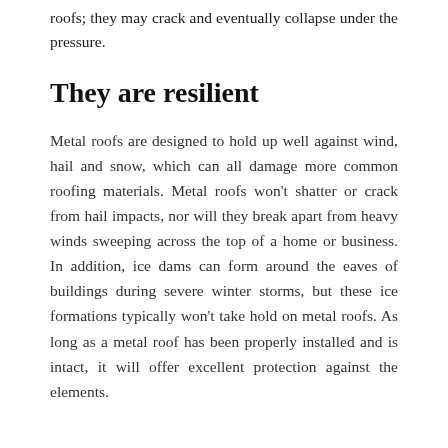roofs; they may crack and eventually collapse under the pressure.
They are resilient
Metal roofs are designed to hold up well against wind, hail and snow, which can all damage more common roofing materials. Metal roofs won't shatter or crack from hail impacts, nor will they break apart from heavy winds sweeping across the top of a home or business. In addition, ice dams can form around the eaves of buildings during severe winter storms, but these ice formations typically won't take hold on metal roofs. As long as a metal roof has been properly installed and is intact, it will offer excellent protection against the elements.